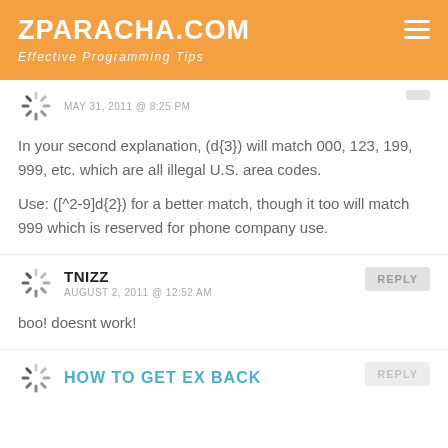ZPARACHA.COM
Effective Programming Tips
MAY 31, 2011 @ 8:25 PM
In your second explanation, (d{3}) will match 000, 123, 199, 999, etc. which are all illegal U.S. area codes.
Use: ([^2-9]d{2}) for a better match, though it too will match 999 which is reserved for phone company use.
TNIZZ
AUGUST 2, 2011 @ 12:52 AM
boo! doesnt work!
HOW TO GET EX BACK